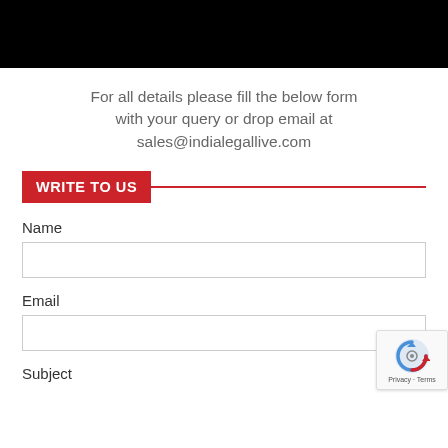[Figure (other): Black banner/header image at top of page]
For all details please fill the below form with your query or drop email at sales@indialegallive.com
WRITE TO US
Name
Email
Subject